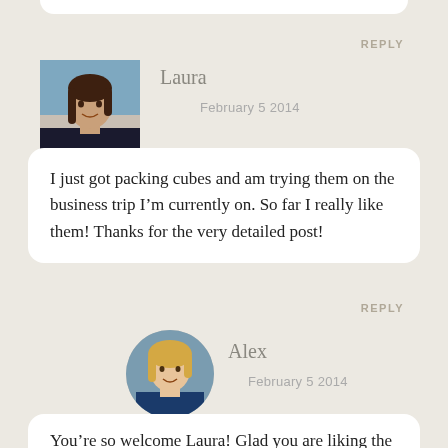[Figure (photo): Partial white comment bubble visible at top of page (bottom of previous comment)]
REPLY
[Figure (photo): Avatar photo of Laura — woman with dark hair, smiling, square-cropped]
Laura
February 5 2014
I just got packing cubes and am trying them on the business trip I’m currently on. So far I really like them! Thanks for the very detailed post!
REPLY
[Figure (photo): Avatar photo of Alex — woman with blonde hair, smiling, round-cropped]
Alex
February 5 2014
You’re so welcome Laura! Glad you are liking the